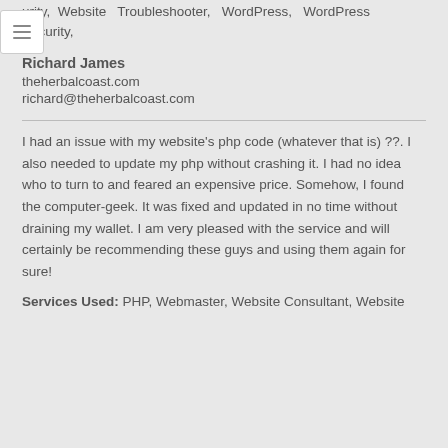urity, Website Troubleshooter, WordPress, WordPress Security,
Richard James
theherbalcoast.com
richard@theherbalcoast.com
I had an issue with my website's php code (whatever that is) ??. I also needed to update my php without crashing it. I had no idea who to turn to and feared an expensive price. Somehow, I found the computer-geek. It was fixed and updated in no time without draining my wallet. I am very pleased with the service and will certainly be recommending these guys and using them again for sure!
Services Used: PHP, Webmaster, Website Consultant, Website